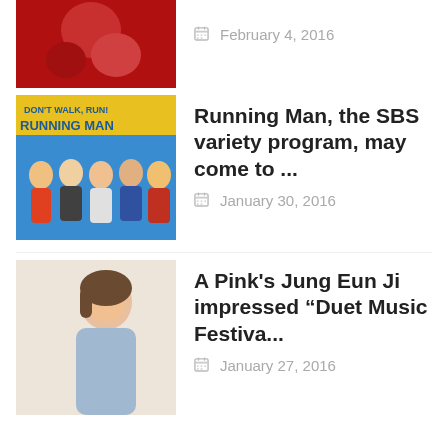[Figure (photo): Partial thumbnail of red-themed image at top]
February 4, 2016
[Figure (photo): Running Man SBS variety show promotional image with cast members]
Running Man, the SBS variety program, may come to ...
January 30, 2016
[Figure (photo): A Pink's Jung Eun Ji portrait photo]
A Pink’s Jung Eun Ji impressed “Duet Music Festiva...
January 27, 2016
[Figure (photo): ZE:A's Hyungsik performing on stage, dark background]
ZE:A’s Hyungsik is been cast ‘The Thre...
January 26, 2016
[Figure (photo): SHINee Married to the Music album cover with group members]
SHINee Trend for “Married to the Music” Album
August 1, 2015